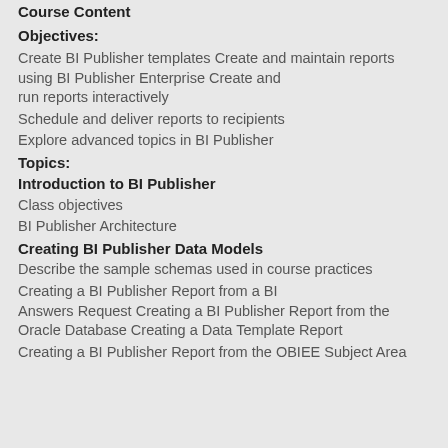Course Content
Objectives:
Create BI Publisher templates Create and maintain reports using BI Publisher Enterprise Create and run reports interactively
Schedule and deliver reports to recipients
Explore advanced topics in BI Publisher
Topics:
Introduction to BI Publisher
Class objectives
BI Publisher Architecture
Creating BI Publisher Data Models
Describe the sample schemas used in course practices
Creating a BI Publisher Report from a BI Answers Request Creating a BI Publisher Report from the Oracle Database Creating a Data Template Report
Creating a BI Publisher Report from the OBIEE Subject Area